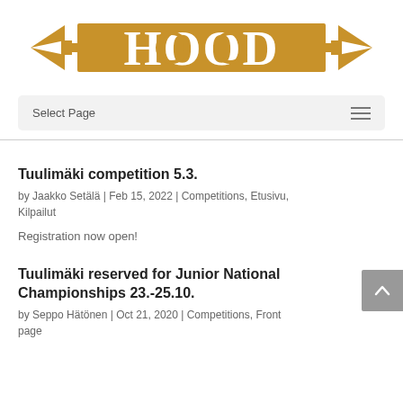[Figure (logo): HOOD logo in gold/amber color with arrows pointing left and right on both sides, bold letters with circular elements in O letters]
Select Page
Tuulimäki competition 5.3.
by Jaakko Setälä | Feb 15, 2022 | Competitions, Etusivu, Kilpailut
Registration now open!
Tuulimäki reserved for Junior National Championships 23.-25.10.
by Seppo Hätönen | Oct 21, 2020 | Competitions, Front page